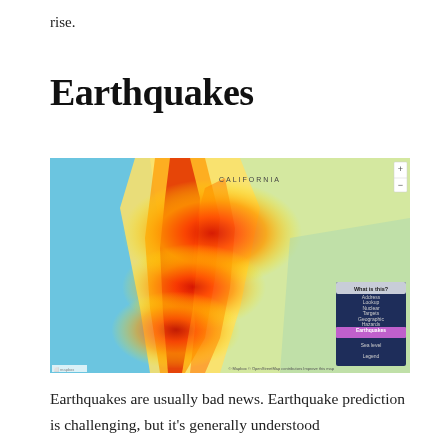rise.
Earthquakes
[Figure (map): Heat map of earthquake hazard zones along the California coast, showing a red/orange/yellow gradient indicating high seismic risk along fault lines. A navigation panel on the right includes options: What is this?, Address Lookup, Nuclear Targets, Geographic Hazards, Earthquakes (highlighted in purple/pink), Sea Level, Legend.]
Earthquakes are usually bad news. Earthquake prediction is challenging, but it's generally understood